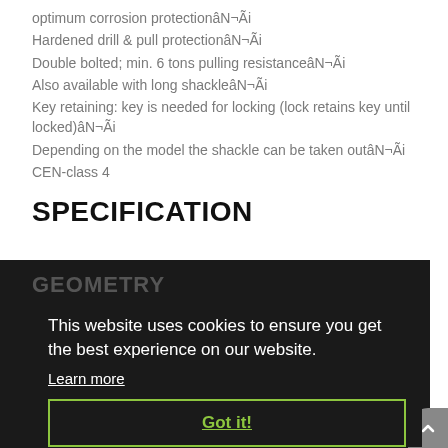optimum corrosion protectionâN¬Ãi
Hardened drill & pull protectionâN¬Ãi
Double bolted; min. 6 tons pulling resistanceâN¬Ãi
Also available with long shackleâN¬Ãi
Key retaining: key is needed for locking (lock retains key until locked)âN¬Ãi
Depending on the model the shackle can be taken outâN¬Ãi
CEN-class 4
SPECIFICATION
GEOMETRY
This website uses cookies to ensure you get the best experience on our website.
Learn more
Got it!